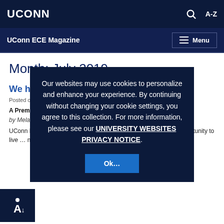UCONN
UConn ECE Magazine  Menu
Month: July 2019
We have a Summer in Storrs for You
Posted on July...
A Premier Summer Program for High School Students
by Mela...
UConn Pre-College Summer provides high school students the opportunity to live ... nationally ranked public U...
Our websites may use cookies to personalize and enhance your experience. By continuing without changing your cookie settings, you agree to this collection. For more information, please see our UNIVERSITY WEBSITES PRIVACY NOTICE.